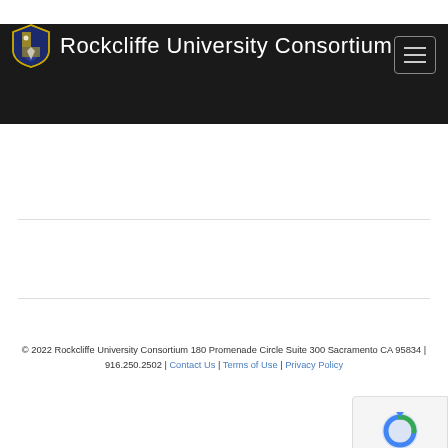Rockcliffe University Consortium
© 2022 Rockcliffe University Consortium 180 Promenade Circle Suite 300 Sacramento CA 95834 | 916.250.2502 | Contact Us | Terms of Use | Privacy Policy